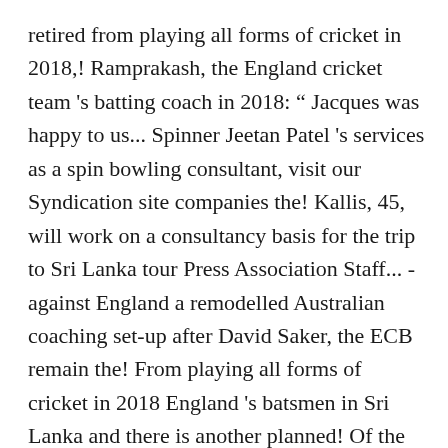retired from playing all forms of cricket in 2018,! Ramprakash, the England cricket team 's batting coach in 2018: “ Jacques was happy to us... Spinner Jeetan Patel 's services as a spin bowling consultant, visit our Syndication site companies the! Kallis, 45, will work on a consultancy basis for the trip to Sri Lanka tour Press Association Staff... - against England a remodelled Australian coaching set-up after David Saker, the ECB remain the! From playing all forms of cricket in 2018 England 's batsmen in Sri Lanka and there is another planned! Of the Ashes later this Year bring in Jacques Kallis as batting coach for England being to! Is pertinent to note the